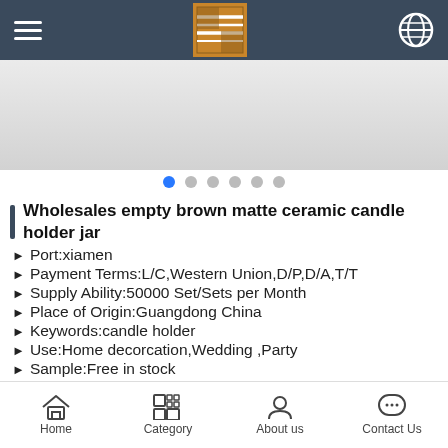Navigation bar with hamburger menu, SF logo, and globe icon
[Figure (photo): Product slider showing white/gray gradient background with carousel dot indicators]
Wholesales empty brown matte ceramic candle holder jar
Port:xiamen
Payment Terms:L/C,Western Union,D/P,D/A,T/T
Supply Ability:50000 Set/Sets per Month
Place of Origin:Guangdong China
Keywords:candle holder
Use:Home decorcation,Wedding ,Party
Sample:Free in stock
Color:white
Product:Ceramic candle holder
Home | Category | About us | Contact Us